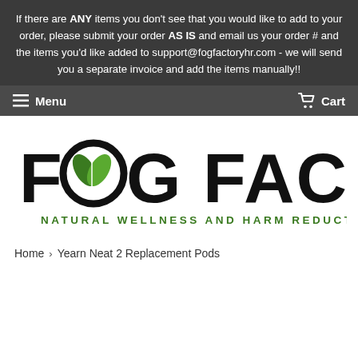If there are ANY items you don't see that you would like to add to your order, please submit your order AS IS and email us your order # and the items you'd like added to support@fogfactoryhr.com - we will send you a separate invoice and add the items manually!!
Menu   Cart
[Figure (logo): Fog Factory logo with large black hand-drawn style text reading FOG FACTORY, a green leaf/cannabis leaf icon replacing the letter O in FOG, and green subtitle text reading NATURAL WELLNESS AND HARM REDUCTION]
Home › Yearn Neat 2 Replacement Pods